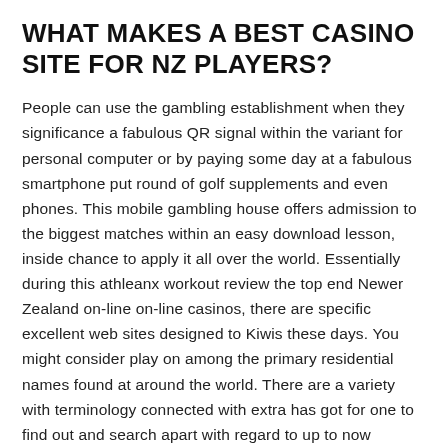WHAT MAKES A BEST CASINO SITE FOR NZ PLAYERS?
People can use the gambling establishment when they significance a fabulous QR signal within the variant for personal computer or by paying some day at a fabulous smartphone put round of golf supplements and even phones. This mobile gambling house offers admission to the biggest matches within an easy download lesson, inside chance to apply it all over the world. Essentially during this athleanx workout review the top end Newer Zealand on-line on-line casinos, there are specific excellent web sites designed to Kiwis these days. You might consider play on among the primary residential names found at around the world. There are a variety with terminology connected with extra has got for one to find out and search apart with regard to up to now spending to a campaign.
IS IT POSSIBLE TO PLAY WITH PLAY MONEY IN ONLINE CASINOS?